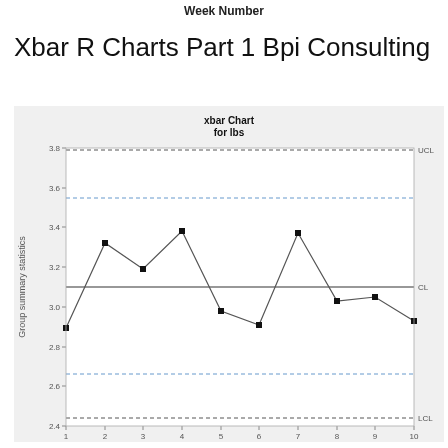Week Number
Xbar R Charts Part 1 Bpi Consulting
[Figure (line-chart): Xbar control chart with UCL dashed line ~3.79, CL solid line ~3.10, LCL dashed line ~2.44, and blue dashed lines at ~3.55 and ~2.66]